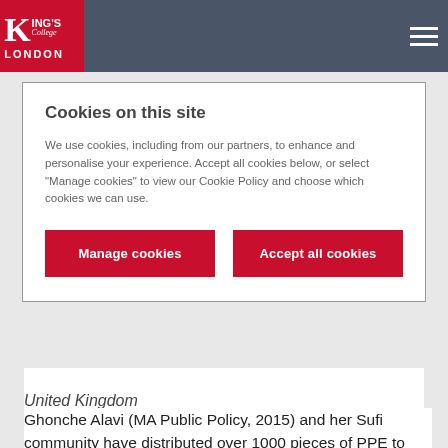King's College London
Cookies on this site
We use cookies, including from our partners, to enhance and personalise your experience. Accept all cookies below, or select "Manage cookies" to view our Cookie Policy and choose which cookies we can use.
Manage cookies | Accept all cookies
United Kingdom
Ghonche Alavi (MA Public Policy, 2015) and her Sufi community have distributed over 1000 pieces of PPE to London hospitals and care homes. They've sewn face masks, crafted visors, made up care packages and even played live Sufi music to care home residents. Ghonche is very proud to live out the